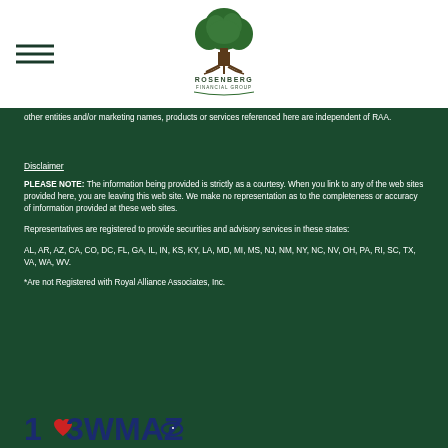[Figure (logo): Rosenberg Financial Group logo with tree illustration and company name]
other entities and/or marketing names, products or services referenced here are independent of RAA.
Disclaimer
PLEASE NOTE: The information being provided is strictly as a courtesy. When you link to any of the web sites provided here, you are leaving this web site. We make no representation as to the completeness or accuracy of information provided at these web sites.
Representatives are registered to provide securities and advisory services in these states:
AL, AR, AZ, CA, CO, DC, FL, GA, IL, IN, KS, KY, LA, MD, MI, MS, NJ, NM, NY, NC, NV, OH, PA, RI, SC, TX, VA, WA, WV.
*Are not Registered with Royal Alliance Associates, Inc.
[Figure (logo): I 3WMAZ CBS affiliate logo with heart and eye symbols]